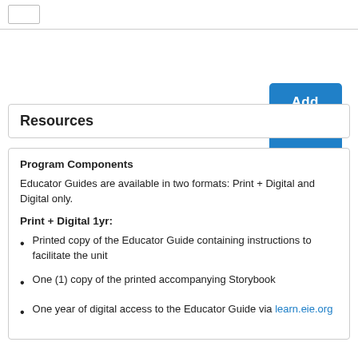[Figure (other): Checkbox placeholder UI element in top left]
[Figure (other): Add to Cart button, blue background, white bold text]
Resources
Program Components
Educator Guides are available in two formats: Print + Digital and Digital only.
Print + Digital 1yr:
Printed copy of the Educator Guide containing instructions to facilitate the unit
One (1) copy of the printed accompanying Storybook
One year of digital access to the Educator Guide via learn.eie.org